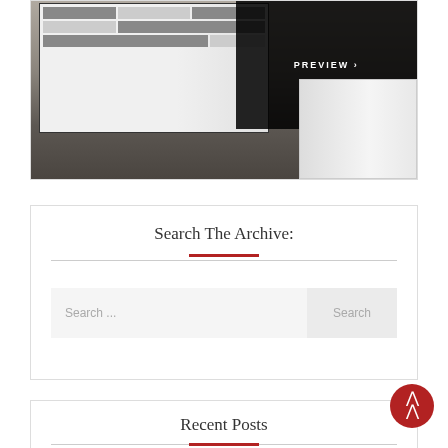[Figure (screenshot): Screenshot of a website shown on a laptop screen with a book beside it, overlaid with a dark 'PREVIEW ›' button in the top right corner.]
Search The Archive:
Search ...
Search
Recent Posts